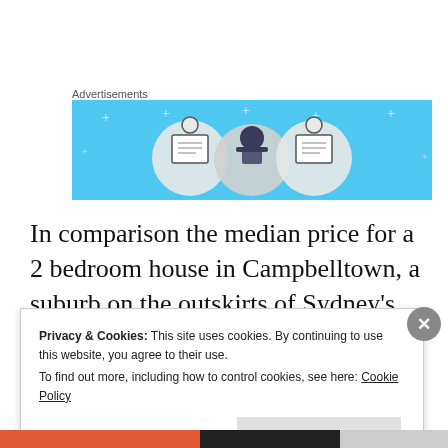Advertisements
[Figure (illustration): Blue advertisement banner with illustrated characters representing people and computers/documents]
In comparison the median price for a 2 bedroom house in Campbelltown, a suburb on the outskirts of Sydney’s western suburbs, is $476 thousand (4). People who
Privacy & Cookies: This site uses cookies. By continuing to use this website, you agree to their use.
To find out more, including how to control cookies, see here: Cookie Policy
Close and accept